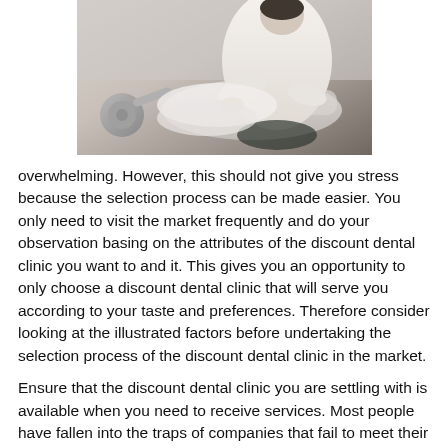[Figure (photo): A dental professional in white coat working with a patient in a dental chair, dental equipment visible in the background.]
overwhelming. However, this should not give you stress because the selection process can be made easier. You only need to visit the market frequently and do your observation basing on the attributes of the discount dental clinic you want to and it. This gives you an opportunity to only choose a discount dental clinic that will serve you according to your taste and preferences. Therefore consider looking at the illustrated factors before undertaking the selection process of the discount dental clinic in the market.
Ensure that the discount dental clinic you are settling with is available when you need to receive services. Most people have fallen into the traps of companies that fail to meet their needs only because e an inconveniencing situation came up. Therefore in order to avoid this, you need to ask people who have received the services from the discount dental clinic previously about their conduct. You need to be sure the discount dental clinic has enough workers who will attend to your needs at your desperate times. Also, it's important to book an appointment earlier before getting your service so as